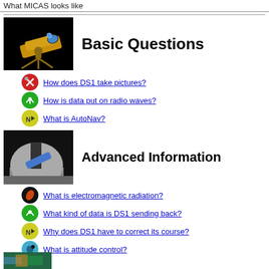What MICAS looks like
[Figure (illustration): Black background image of a telescope/camera instrument on a tripod, colored gold/orange, representing DS1 imaging instrument]
Basic Questions
How does DS1 take pictures?
How is data put on radio waves?
What is AutoNav?
[Figure (illustration): Black background image of a dome observatory with a blue telescope/instrument]
Advanced Information
What is electromagnetic radiation?
What kind of data is DS1 sending back?
Why does DS1 have to correct its course?
What is attitude control?
[Figure (illustration): Partial image at bottom of page, colorful, partially visible]